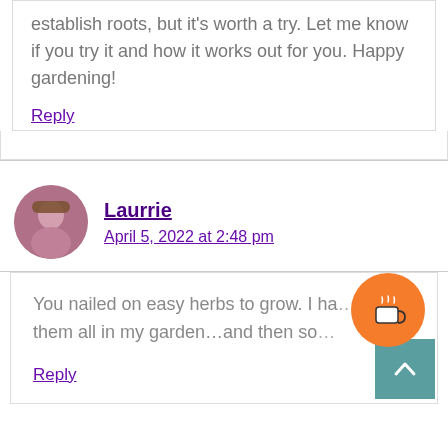establish roots, but it's worth a try. Let me know if you try it and how it works out for you. Happy gardening!
Reply
Laurrie
April 5, 2022 at 2:48 pm
You nailed on easy herbs to grow. I ha... them all in my garden…and then so...
Reply